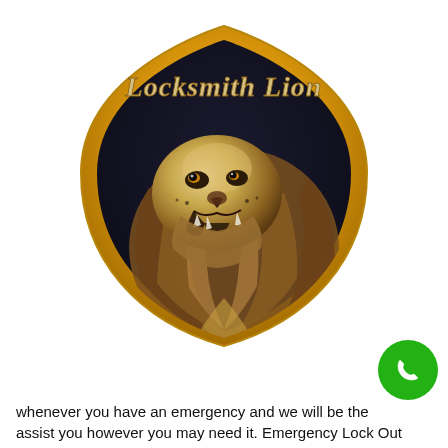[Figure (logo): Locksmith Lion logo: a gold shield with dark background, featuring a golden lion head and the text 'Locksmith Lion' in decorative script at the top.]
whenever you have an emergency and we will be the
assist you however you may need it. Emergency Lock Out